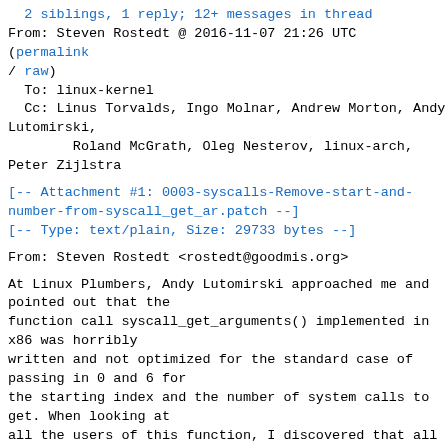2 siblings, 1 reply; 12+ messages in thread
From: Steven Rostedt @ 2016-11-07 21:26 UTC (permalink / raw)
To: linux-kernel
Cc: Linus Torvalds, Ingo Molnar, Andrew Morton, Andy Lutomirski,
        Roland McGrath, Oleg Nesterov, linux-arch,
Peter Zijlstra
[-- Attachment #1: 0003-syscalls-Remove-start-and-number-from-syscall_get_ar.patch --]
[-- Type: text/plain, Size: 29733 bytes --]
From: Steven Rostedt <rostedt@goodmis.org>
At Linux Plumbers, Andy Lutomirski approached me and pointed out that the
function call syscall_get_arguments() implemented in x86 was horribly
written and not optimized for the standard case of passing in 0 and 6 for
the starting index and the number of system calls to get. When looking at
all the users of this function, I discovered that all instances pass in only
0 and 6 for these arguments. Instead of having this function handle
different cases that are never used, simply rewrite it to return the first 6
arguments of a system call